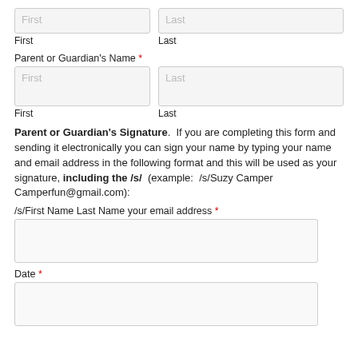First
Last
Parent or Guardian's Name *
First
Last
Parent or Guardian's Signature.  If you are completing this form and sending it electronically you can sign your name by typing your name and email address in the following format and this will be used as your signature, including the /s/  (example:  /s/Suzy Camper Camperfun@gmail.com):
/s/First Name Last Name your email address *
Date *